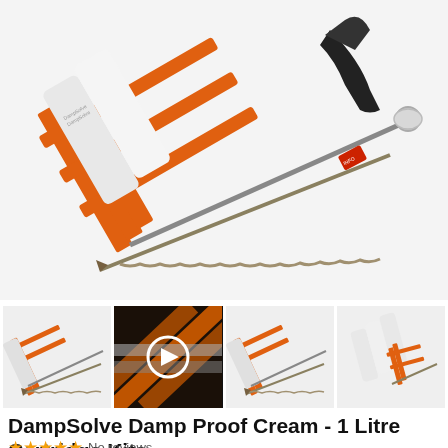[Figure (photo): DampSolve Damp Proof Cream product kit showing orange metal frame applicator gun, white cartridge tubes, a long drill bit, and a black handle applicator tool on a light grey/white background.]
[Figure (photo): Thumbnail 1: Product kit with applicator gun and drill bits.]
[Figure (photo): Thumbnail 2: Video thumbnail showing orange and grey diagonal lines pattern with a white play button circle overlay.]
[Figure (photo): Thumbnail 3: Product kit similar to main image.]
[Figure (photo): Thumbnail 4: Multiple cartridge tubes with applicator.]
DampSolve Damp Proof Cream - 1 Litre Cartridge Kits
No reviews